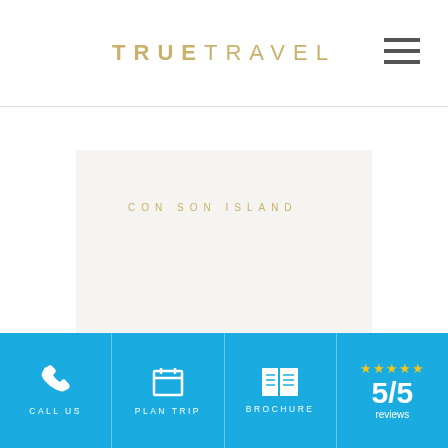TRUE TRAVEL
CON SON ISLAND
Six Senses Con Dao
CALL US | PLAN TRIP | BROCHURE | 5/5 reviews